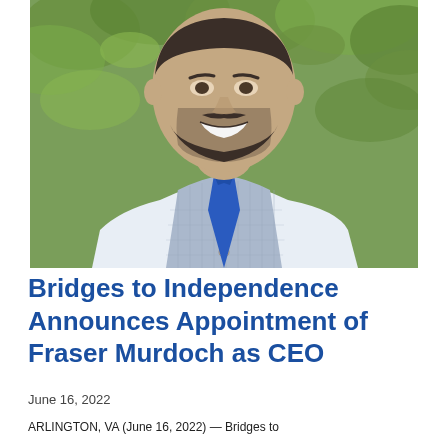[Figure (photo): Headshot photo of Fraser Murdoch, a bearded man wearing a light blue vest over a white dress shirt with a blue tie, smiling, with green foliage in the background.]
Bridges to Independence Announces Appointment of Fraser Murdoch as CEO
June 16, 2022
ARLINGTON, VA (June 16, 2022) — Bridges to